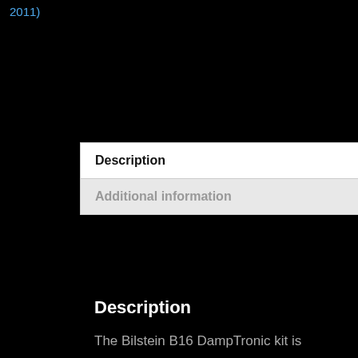2011)
Description
Additional information
Description
The Bilstein B16 DampTronic kit is designed to integrate directly with the exclusive Porsche Active Suspension Management (PASM) system. This coilover system of monotube shock absorbers has been fine-tuned to produce the finest performance possible from the car's electronically controlled suspension module. The threaded body